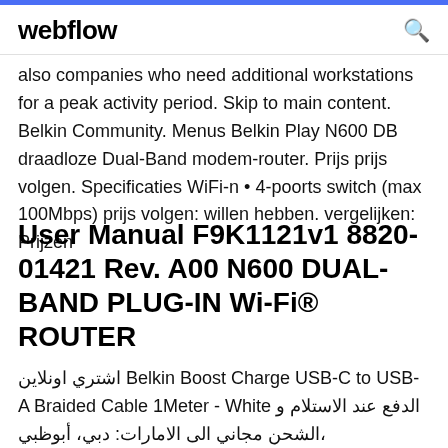webflow
also companies who need additional workstations for a peak activity period. Skip to main content. Belkin Community. Menus Belkin Play N600 DB draadloze Dual-Band modem-router. Prijs prijs volgen. Specificaties WiFi-n • 4-poorts switch (max 100Mbps) prijs volgen: willen hebben. vergelijken: Prijzen
User Manual F9K1121v1 8820-01421 Rev. A00 N600 DUAL-BAND PLUG-IN Wi-Fi® ROUTER
اشتري اونلاين Belkin Boost Charge USB-C to USB-A Braided Cable 1Meter - White الدفع عند الاستلام و الشحن مجاني الى الامارات: دبي، أبوظبي،